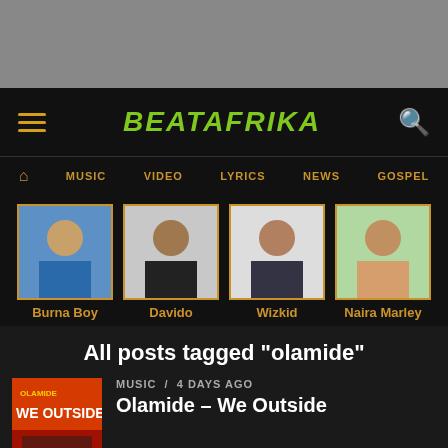[Figure (screenshot): Top gray browser area]
BEATAFRIKA
MUSIC  VIDEO  LYRICS  NEWS  GOSPEL
[Figure (photo): Artist photos: Burna Boy, Davido, Wizkid, Naira Marley with gold-bordered thumbnails]
All posts tagged "olamide"
MUSIC / 4 days ago
Olamide – We Outside
[Figure (photo): Olamide – We Outside album art thumbnail]